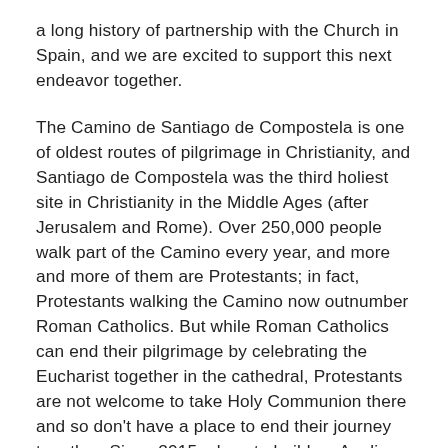a long history of partnership with the Church in Spain, and we are excited to support this next endeavor together.
The Camino de Santiago de Compostela is one of oldest routes of pilgrimage in Christianity, and Santiago de Compostela was the third holiest site in Christianity in the Middle Ages (after Jerusalem and Rome). Over 250,000 people walk part of the Camino every year, and more and more of them are Protestants; in fact, Protestants walking the Camino now outnumber Roman Catholics. But while Roman Catholics can end their pilgrimage by celebrating the Eucharist together in the cathedral, Protestants are not welcome to take Holy Communion there and so don't have a place to end their journey together. Since 2015, plans to build an Anglican Centre in Santiago have been developing, and UTO now is joining in